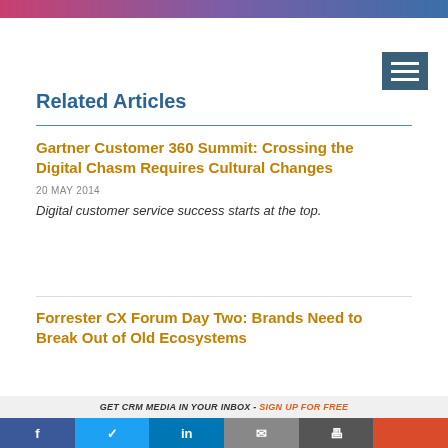[Figure (photo): Top banner image with gradient colors purple/pink/blue]
[Figure (other): Hamburger menu icon button with three white horizontal lines on dark teal background]
Related Articles
Gartner Customer 360 Summit: Crossing the Digital Chasm Requires Cultural Changes
20 MAY 2014
Digital customer service success starts at the top.
Forrester CX Forum Day Two: Brands Need to Break Out of Old Ecosystems
GET CRM MEDIA IN YOUR INBOX - SIGN UP FOR FREE